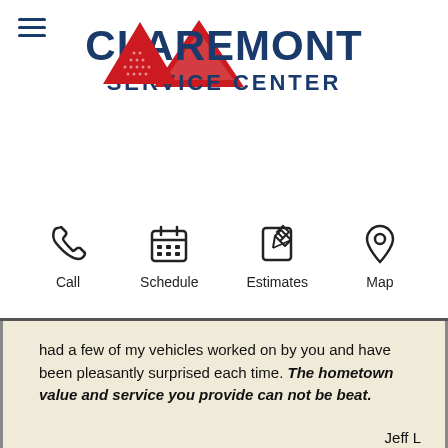[Figure (logo): Claremont Service Center logo with red triangle/arrow and blue bold text]
[Figure (infographic): Four navigation icons: Call (phone), Schedule (calendar), Estimates (pencil/paper), Map (location pin) with labels below]
had a few of my vehicles worked on by you and have been pleasantly surprised each time. The hometown value and service you provide can not be beat.
Jeff L
Claremont MN